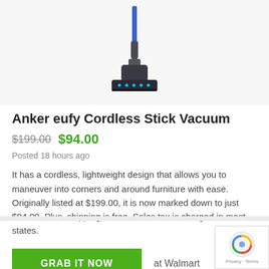[Figure (photo): Anker eufy cordless stick vacuum cleaner standing upright, blue and black colored, on white/light grey background]
Anker eufy Cordless Stick Vacuum
$199.00 $94.00
Posted 18 hours ago
It has a cordless, lightweight design that allows you to maneuver into corners and around furniture with ease. Originally listed at $199.00, it is now marked down to just $94.00. Plus, shipping is free. Sales tax is charged in most states.
GRAB IT NOW   at Walmart